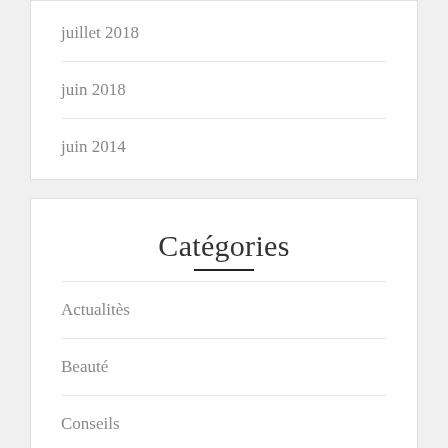juillet 2018
juin 2018
juin 2014
Catégories
Actualitès
Beauté
Conseils